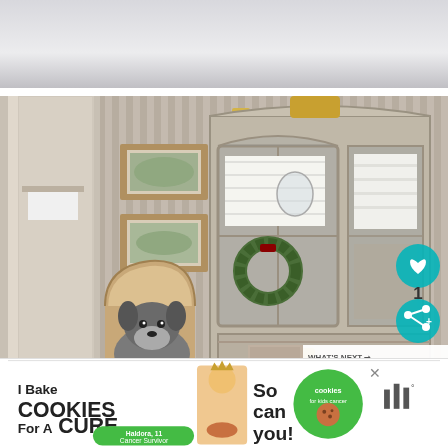[Figure (photo): Top portion of a bedroom or interior scene, showing light-colored bedding or furniture against a neutral background]
[Figure (photo): Interior room photo showing a French country-style painted armoire/china cabinet in gray-beige, filled with white folded towels and decorative items. A wreath hangs on the cabinet door. Striped wallpaper in beige and taupe is on the walls. Framed prints hang on the left wall. A carved round mirror frame is below the prints. A French-style chair with a schnauzer dog sitting in front of it is at the lower left. A teal heart/like button and share button are on the right side. A 'WHAT'S NEXT' overlay shows 'Jewelry for the Sink | Kohle...' with a thumbnail image.]
[Figure (infographic): Advertisement banner reading 'I Bake COOKIES For A CURE' with a girl image, 'So can you!' text, green cookies for kids cancer logo, and a media brand logo on the right. Features a Haldora, 11 Cancer Survivor tag.]